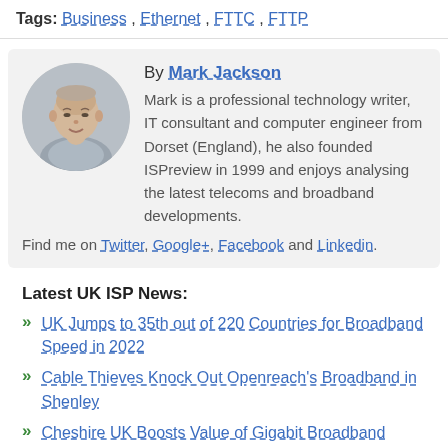Tags: Business , Ethernet , FTTC , FTTP
By Mark Jackson
Mark is a professional technology writer, IT consultant and computer engineer from Dorset (England), he also founded ISPreview in 1999 and enjoys analysing the latest telecoms and broadband developments.
Find me on Twitter, Google+, Facebook and Linkedin.
Latest UK ISP News:
UK Jumps to 35th out of 220 Countries for Broadband Speed in 2022
Cable Thieves Knock Out Openreach's Broadband in Shenley
Cheshire UK Boosts Value of Gigabit Broadband